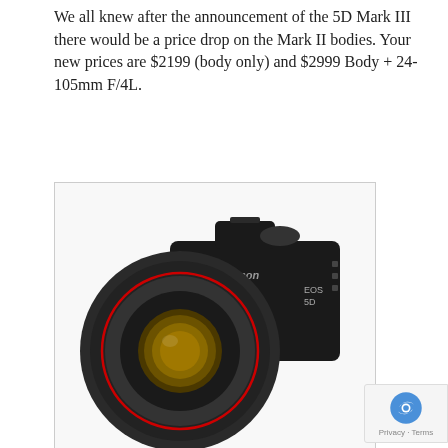We all knew after the announcement of the 5D Mark III there would be a price drop on the Mark II bodies. Your new prices are $2199 (body only) and $2999 Body + 24-105mm F/4L.
[Figure (photo): Canon EOS 5D Mark II DSLR camera with lens attached, shown against a white background inside a light-bordered box]
Find Prices   Lower prices on Canon 5D Mark II ↗
Related Articles You May Like:
[Figure (photo): Canon EOS C70 Pro cinema camera being held, card thumbnail]
[Figure (photo): Panasonic Lumix mirrorless camera, card thumbnail]